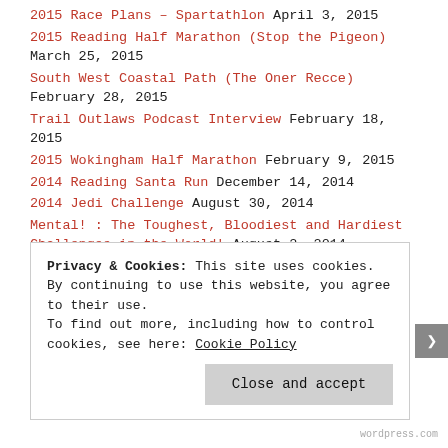2015 Race Plans – Spartathlon April 3, 2015
2015 Reading Half Marathon (Stop the Pigeon) March 25, 2015
South West Coastal Path (The Oner Recce) February 28, 2015
Trail Outlaws Podcast Interview February 18, 2015
2015 Wokingham Half Marathon February 9, 2015
2014 Reading Santa Run December 14, 2014
2014 Jedi Challenge August 30, 2014
Mental! : The Toughest, Bloodiest and Hardiest Challenges in the World! August 2, 2014
2014 T60 Night Race May 13, 2014
First Father Daughter Run April 8, 2014
Privacy & Cookies: This site uses cookies. By continuing to use this website, you agree to their use. To find out more, including how to control cookies, see here: Cookie Policy
wordpress.com